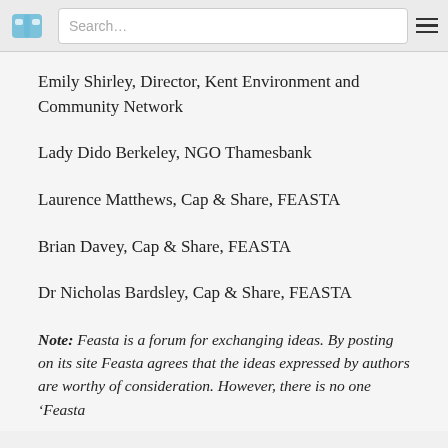Search…
Emily Shirley, Director, Kent Environment and Community Network
Lady Dido Berkeley, NGO Thamesbank
Laurence Matthews, Cap & Share, FEASTA
Brian Davey, Cap & Share, FEASTA
Dr Nicholas Bardsley, Cap & Share, FEASTA
Note: Feasta is a forum for exchanging ideas. By posting on its site Feasta agrees that the ideas expressed by authors are worthy of consideration. However, there is no one 'Feasta